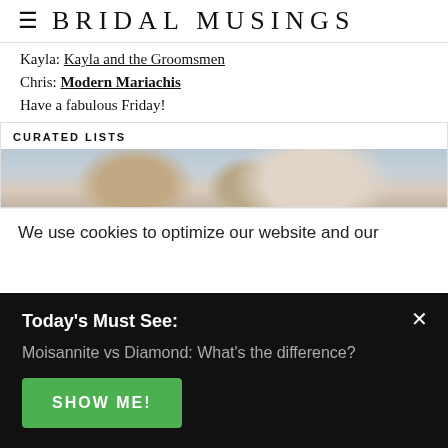BRIDAL MUSINGS
Kayla: Kayla and the Groomsmen
Chris: Modern Mariachis
Have a fabulous Friday!
CURATED LISTS
[Figure (photo): Photo of white/cream colored objects, possibly macarons or decorative items on a light blue-gray background]
We use cookies to optimize our website and our
Today's Must See:
Moisannite vs Diamond: What's the difference?
SHOW ME!